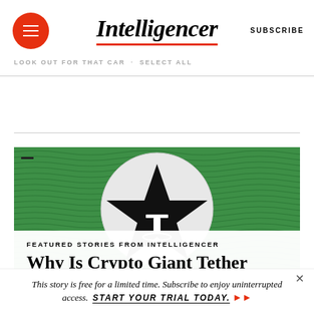Intelligencer
LOOK OUT FOR THAT CAR   SELECT ALL
[Figure (illustration): Green wavy-patterned background with a large white circle containing a black star overlaid with the Tether T logo in black and white, styled like currency artwork]
FEATURED STORIES FROM INTELLIGENCER
Why Is Crypto Giant Tether Risking It All Over North Korea?
This story is free for a limited time. Subscribe to enjoy uninterrupted access. START YOUR TRIAL TODAY.